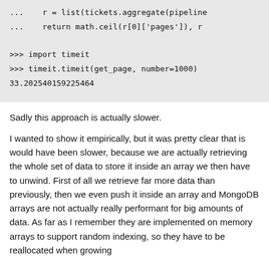...	r = list(tickets.aggregate(pipeline
...	return math.ceil(r[0]['pages']), r

>>> import timeit
>>> timeit.timeit(get_page, number=1000)
33.202540159225464
Sadly this approach is actually slower.
I wanted to show it empirically, but it was pretty clear that is would have been slower, because we are actually retrieving the whole set of data to store it inside an array we then have to unwind. First of all we retrieve far more data than previously, then we even push it inside an array and MongoDB arrays are not actually really performant for big amounts of data. As far as I remember they are implemented on memory arrays to support random indexing, so they have to be reallocated when growing